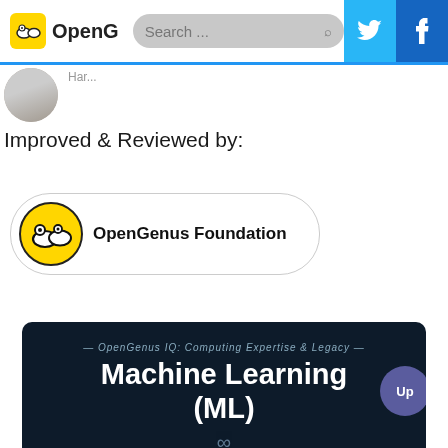OpenG | Search ...
Har...
Improved & Reviewed by:
OpenGenus Foundation
[Figure (screenshot): Dark banner for OpenGenus IQ: Computing Expertise & Legacy promoting Machine Learning (ML) with infinity symbol]
Machine Learning (ML)
— OpenGenus IQ: Computing Expertise & Legacy —